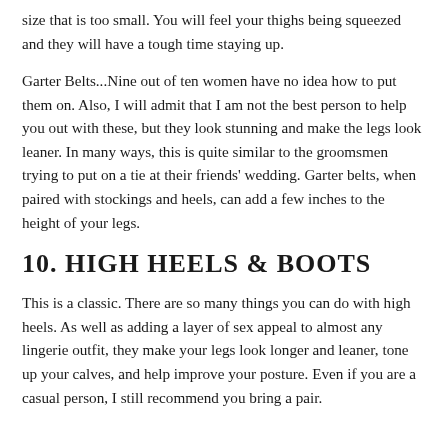size that is too small. You will feel your thighs being squeezed and they will have a tough time staying up.
Garter Belts...Nine out of ten women have no idea how to put them on. Also, I will admit that I am not the best person to help you out with these, but they look stunning and make the legs look leaner. In many ways, this is quite similar to the groomsmen trying to put on a tie at their friends' wedding. Garter belts, when paired with stockings and heels, can add a few inches to the height of your legs.
10. HIGH HEELS & BOOTS
This is a classic. There are so many things you can do with high heels. As well as adding a layer of sex appeal to almost any lingerie outfit, they make your legs look longer and leaner, tone up your calves, and help improve your posture. Even if you are a casual person, I still recommend you bring a pair.